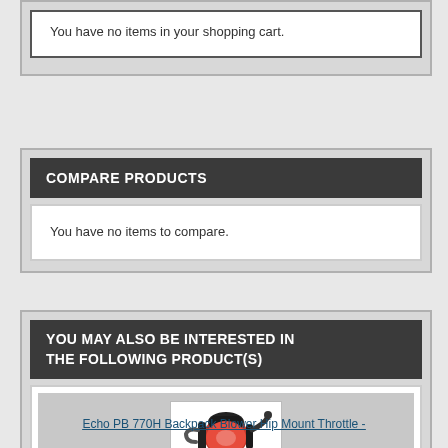You have no items in your shopping cart.
COMPARE PRODUCTS
You have no items to compare.
YOU MAY ALSO BE INTERESTED IN THE FOLLOWING PRODUCT(S)
[Figure (photo): Echo PB 770H Backpack Blower with orange and black color scheme]
Echo PB 770H Backpack Blower Hip Mount Throttle -